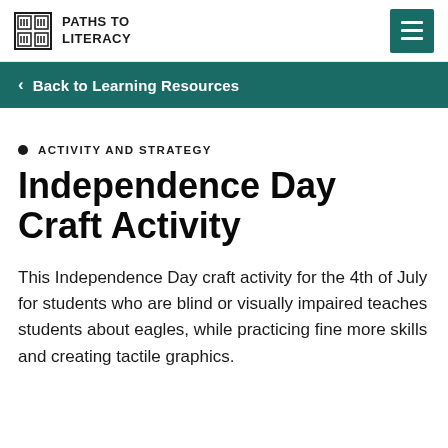PATHS TO LITERACY
Back to Learning Resources
ACTIVITY AND STRATEGY
Independence Day Craft Activity
This Independence Day craft activity for the 4th of July for students who are blind or visually impaired teaches students about eagles, while practicing fine more skills and creating tactile graphics.